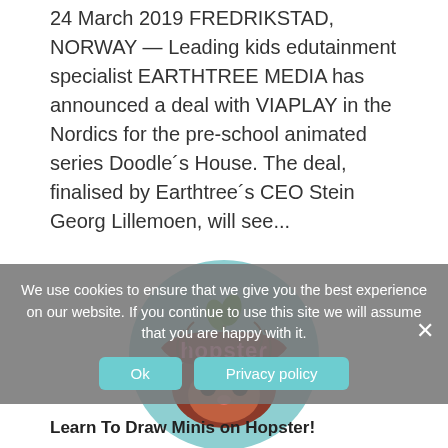24 March 2019 FREDRIKSTAD, NORWAY — Leading kids edutainment specialist EARTHTREE MEDIA has announced a deal with VIAPLAY in the Nordics for the pre-school animated series Doodle´s House. The deal, finalised by Earthtree´s CEO Stein Georg Lillemoen, will see...
[Figure (logo): Hopster logo — circular teal background with a cartoon hedgehog character and 'hopster' text in pink/red lettering with green leaf accents]
We use cookies to ensure that we give you the best experience on our website. If you continue to use this site we will assume that you are happy with it.
Ok   Privacy policy
Learn To Draw Minis on Hopster!